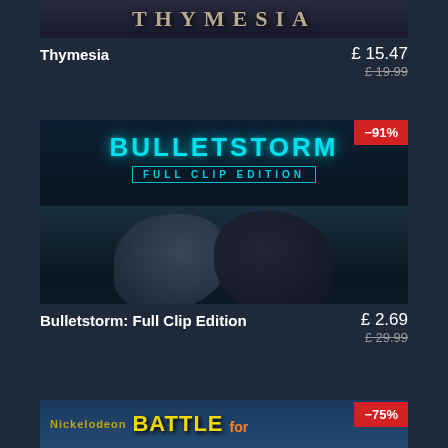[Figure (screenshot): Thymesia game cover art showing dark fantasy title logo with decorative styling]
Thymesia
£ 15.47
£ 19.99
[Figure (screenshot): Bulletstorm Full Clip Edition game cover art showing two characters facing each other with -91% discount badge]
Bulletstorm: Full Clip Edition
£ 2.69
£ 29.99
[Figure (screenshot): SpongeBob Battle for partial game cover art showing -75% discount badge, partially visible at bottom]